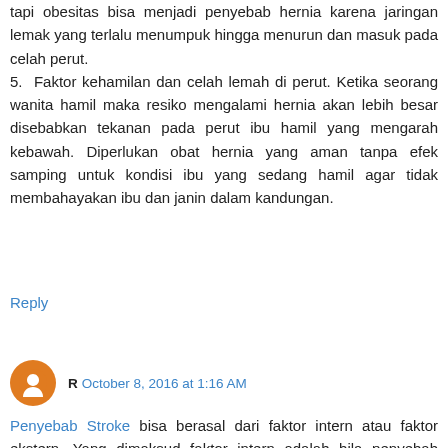tapi obesitas bisa menjadi penyebab hernia karena jaringan lemak yang terlalu menumpuk hingga menurun dan masuk pada celah perut. 5. Faktor kehamilan dan celah lemah di perut. Ketika seorang wanita hamil maka resiko mengalami hernia akan lebih besar disebabkan tekanan pada perut ibu hamil yang mengarah kebawah. Diperlukan obat hernia yang aman tanpa efek samping untuk kondisi ibu yang sedang hamil agar tidak membahayakan ibu dan janin dalam kandungan.
Reply
R October 8, 2016 at 1:16 AM
Penyebab Stroke bisa berasal dari faktor intern atau faktor ekstern. Yang dimaksud faktor intern adalah bila penyebab stroke berasal dari dalam fisik penderita stroke itu sendiri, dan faktor ekstern yang berasal dari luar fisik penderita. Sebelum kita memilih untuk menggunakan obat stroke yang ampuh maka terlebih dulu kita harus mengetahui jenis jenis penyebab stroke. Dibawah ini akan kami ulas beberapa hal yang menjadi pemicu munculnya serangan